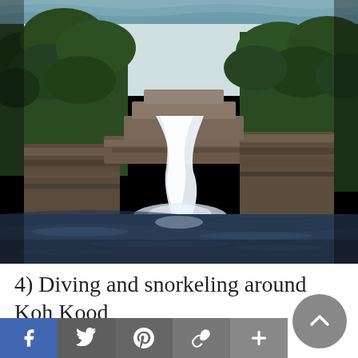[Figure (photo): A waterfall cascading over rocky ledges into a dark blue pool, surrounded by lush green jungle and rocky walls, photographed from water level. Part of a second photo is visible at the very top edge.]
4) Diving and snorkeling around Koh Kood